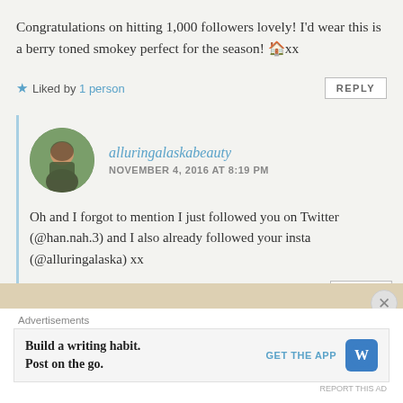Congratulations on hitting 1,000 followers lovely! I'd wear this is a berry toned smokey perfect for the season! 🏠xx
★ Liked by 1 person
REPLY
alluringalaskabeauty
NOVEMBER 4, 2016 AT 8:19 PM
Oh and I forgot to mention I just followed you on Twitter (@han.nah.3) and I also already followed your insta (@alluringalaska) xx
★ Liked by 1 person
REPLY
Advertisements
Build a writing habit. Post on the go.
GET THE APP